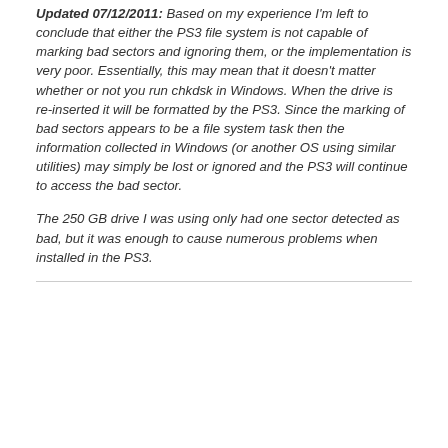Updated 07/12/2011: Based on my experience I'm left to conclude that either the PS3 file system is not capable of marking bad sectors and ignoring them, or the implementation is very poor. Essentially, this may mean that it doesn't matter whether or not you run chkdsk in Windows. When the drive is re-inserted it will be formatted by the PS3. Since the marking of bad sectors appears to be a file system task then the information collected in Windows (or another OS using similar utilities) may simply be lost or ignored and the PS3 will continue to access the bad sector.
The 250 GB drive I was using only had one sector detected as bad, but it was enough to cause numerous problems when installed in the PS3.